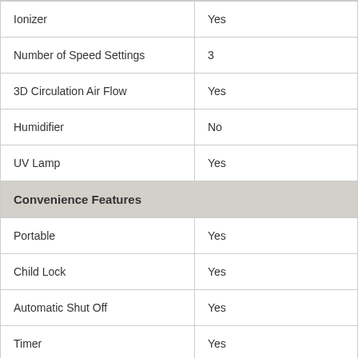| Feature | Value |
| --- | --- |
| Ionizer | Yes |
| Number of Speed Settings | 3 |
| 3D Circulation Air Flow | Yes |
| Humidifier | No |
| UV Lamp | Yes |
| Convenience Features |  |
| Portable | Yes |
| Child Lock | Yes |
| Automatic Shut Off | Yes |
| Timer | Yes |
| Silent Mode | Yes |